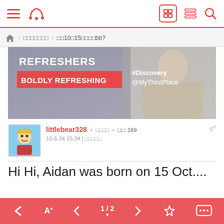App navigation bar with hamburger menu, crown icon, grid/layout icons, and search icon
□□□□□□□ > □□10□15□□□□bb?
[Figure (photo): Advertisement banner: REFRESHERS - BOLDLY REFRESHING with #Discovery @MyThirdPlace text overlay]
littlebear328 • □□□□ • □□: 169
10-6-24 15:34 | □□□□□
6#
Hi Hi, Aidan was born on 15 Oct....
PM □□□□
← A+ < 1/2 > ☆ ...